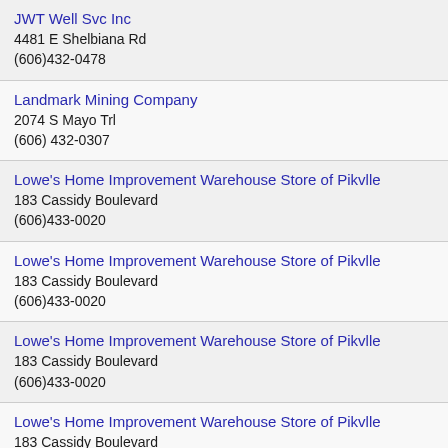JWT Well Svc Inc
4481 E Shelbiana Rd
(606)432-0478
Landmark Mining Company
2074 S Mayo Trl
(606) 432-0307
Lowe's Home Improvement Warehouse Store of Pikvlle
183 Cassidy Boulevard
(606)433-0020
Lowe's Home Improvement Warehouse Store of Pikvlle
183 Cassidy Boulevard
(606)433-0020
Lowe's Home Improvement Warehouse Store of Pikvlle
183 Cassidy Boulevard
(606)433-0020
Lowe's Home Improvement Warehouse Store of Pikvlle
183 Cassidy Boulevard
(606)433-0020